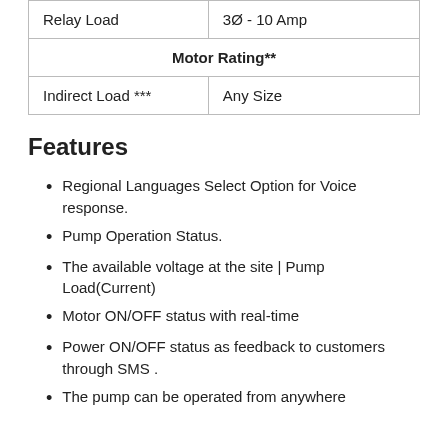| Relay Load | 3Ø - 10 Amp |
| Motor Rating** |  |
| Indirect Load *** | Any Size |
Features
Regional Languages Select Option for Voice response.
Pump Operation Status.
The available voltage at the site | Pump Load(Current)
Motor ON/OFF status with real-time
Power ON/OFF status as feedback to customers through SMS .
The pump can be operated from anywhere